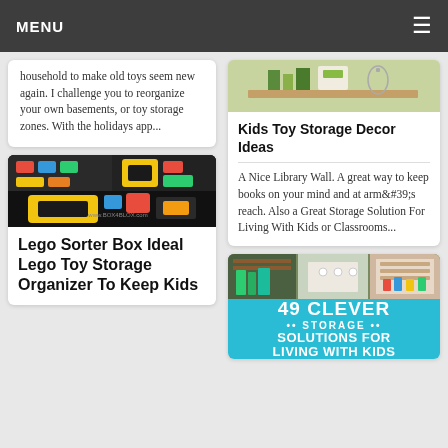MENU
household to make old toys seem new again. I challenge you to reorganize your own basements, or toy storage zones. With the holidays app...
[Figure (photo): Lego sorting box with colorful Lego pieces, showing the BOX4BLOX product on dark background]
Lego Sorter Box Ideal Lego Toy Storage Organizer To Keep Kids
[Figure (photo): Kids toy storage area with books and green decor items]
Kids Toy Storage Decor Ideas
A Nice Library Wall. A great way to keep books on your mind and at arm's reach. Also a Great Storage Solution For Living With Kids or Classrooms...
[Figure (photo): Collage of storage solutions for living with kids, with teal/blue background showing '49 CLEVER STORAGE SOLUTIONS FOR LIVING WITH KIDS']